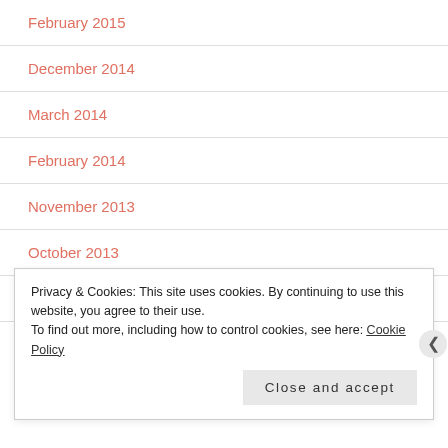February 2015
December 2014
March 2014
February 2014
November 2013
October 2013
September 2013
August 2013
Privacy & Cookies: This site uses cookies. By continuing to use this website, you agree to their use. To find out more, including how to control cookies, see here: Cookie Policy
Close and accept